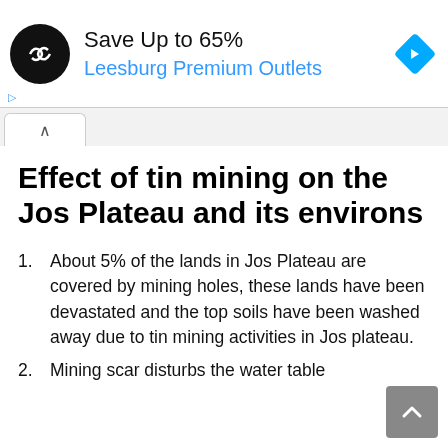[Figure (screenshot): Advertisement banner: Save Up to 65% at Leesburg Premium Outlets with loop logo and blue arrow diamond icon]
Effect of tin mining on the Jos Plateau and its environs
About 5% of the lands in Jos Plateau are covered by mining holes, these lands have been devastated and the top soils have been washed away due to tin mining activities in Jos plateau.
Mining scar disturbs the water table